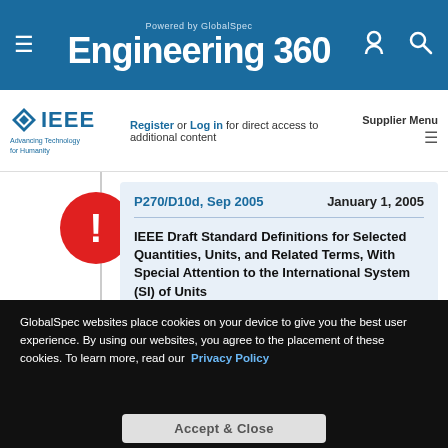Powered by GlobalSpec Engineering 360
Register or Log in for direct access to additional content   Supplier Menu
P270/D10d, Sep 2005   January 1, 2005
IEEE Draft Standard Definitions for Selected Quantities, Units, and Related Terms, With Special Attention to the International System (SI) of Units
A description is not available for this item.
GlobalSpec websites place cookies on your device to give you the best user experience. By using our websites, you agree to the placement of these cookies. To learn more, read our Privacy Policy
Accept & Close